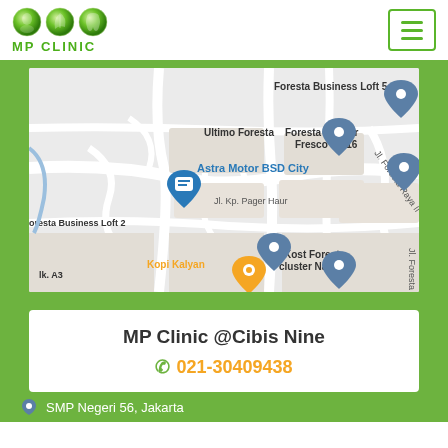[Figure (logo): MP Clinic logo with three green circular icons and 'MP CLINIC' text in green]
[Figure (map): Google Maps screenshot showing BSD City area with landmarks: Foresta Business Loft 5, Ultimo Foresta, Foresta Cluster Fresco H7/16, Astra Motor BSD City, Jl. Foresta Raya II, Jl. Kp. Pager Haur, Foresta Business Loft 2, Kopi Kalyan, Kost Foresta cluster Naturale, Jl. Foresta Raya, Blk. A3]
MP Clinic @Cibis Nine
021-30409438
SMP Negeri 56, Jakarta